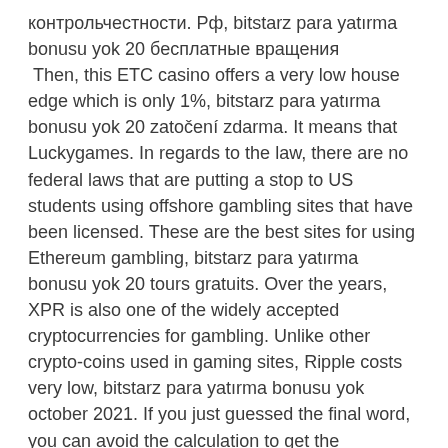контрольчестности. Рф, bitstarz para yatırma bonusu yok 20 бесплатные вращения
 Then, this ETC casino offers a very low house edge which is only 1%, bitstarz para yatırma bonusu yok 20 zatočení zdarma. It means that Luckygames. In regards to the law, there are no federal laws that are putting a stop to US students using offshore gambling sites that have been licensed. These are the best sites for using Ethereum gambling, bitstarz para yatırma bonusu yok 20 tours gratuits. Over the years, XPR is also one of the widely accepted cryptocurrencies for gambling. Unlike other crypto-coins used in gaming sites, Ripple costs very low, bitstarz para yatırma bonusu yok october 2021. If you just guessed the final word, you can avoid the calculation to get the checksum, bitstarz para yatırma